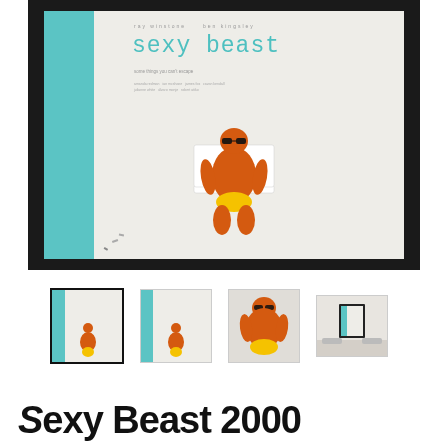[Figure (photo): Framed movie poster for 'Sexy Beast' showing an extremely tanned/orange man in yellow swim briefs and sunglasses lounging on a white surface, with teal/blue pool visible. The poster has the film title in teal handwritten-style font and actor credits at top. The poster is mounted in a dark/black frame.]
[Figure (photo): Row of four thumbnail images of the same movie poster from different angles/contexts. First thumbnail (selected/highlighted with border) shows the framed poster. Second shows the unframed poster. Third shows close-up of the figure. Fourth shows the poster hanging on a wall in a room.]
Sexy Beast 2000